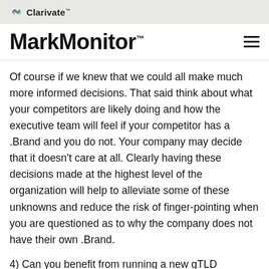Clarivate™
MarkMonitor™
Of course if we knew that we could all make much more informed decisions. That said think about what your competitors are likely doing and how the executive team will feel if your competitor has a .Brand and you do not. Your company may decide that it doesn't care at all. Clearly having these decisions made at the highest level of the organization will help to alleviate some of these unknowns and reduce the risk of finger-pointing when you are questioned as to why the company does not have their own .Brand.
4) Can you benefit from running a new gTLD registry?